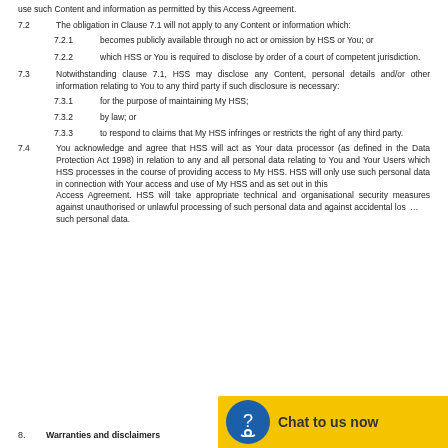use such Content and information as permitted by this Access Agreement.
7.2 The obligation in Clause 7.1 will not apply to any Content or information which:
7.2.1 becomes publicly available through no act or omission by HSS or You; or
7.2.2 which HSS or You is required to disclose by order of a court of competent jurisdiction.
7.3 Notwithstanding clause 7.1, HSS may disclose any Content, personal details and/or other information relating to You to any third party if such disclosure is necessary:
7.3.1 for the purpose of maintaining My HSS;
7.3.2 by law; or
7.3.3 to respond to claims that My HSS infringes or restricts the right of any third party.
7.4 You acknowledge and agree that HSS will act as Your data processor (as defined in the Data Protection Act 1998) in relation to any and all personal data relating to You and Your Users which HSS processes in the course of providing access to My HSS. HSS will only use such personal data in connection with Your access and use of My HSS and as set out in this Access Agreement. HSS will take appropriate technical and organisational security measures against unauthorised or unlawful processing of such personal data and against accidental loss... such personal data.
8. Warranties and disclaimers